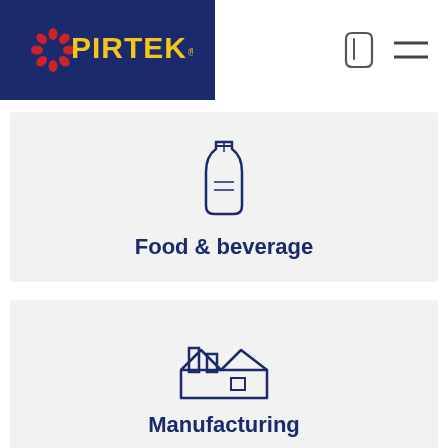[Figure (logo): Pirtek logo with phone and menu icons in header]
[Figure (illustration): Food & beverage category card with bottle icon]
Food & beverage
[Figure (illustration): Manufacturing category card with factory icon]
Manufacturing